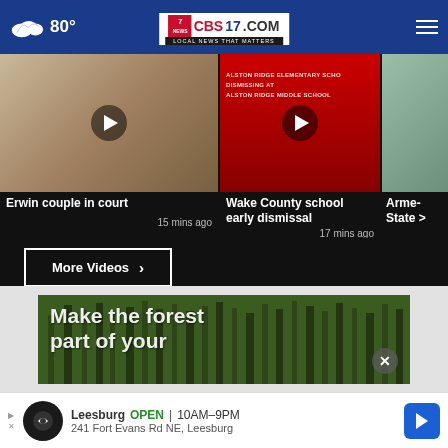80° CBS17.COM LOCAL NEWS THAT MATTERS
[Figure (screenshot): Video thumbnail: courtroom scene with play button - Erwin couple in court, 15 mins ago]
[Figure (screenshot): Video thumbnail: Alston Ridge Elementary School dismissal sign on red background with play button - Wake County school early dismissal, 17 mins ago]
[Figure (screenshot): Video thumbnail: partially visible - Arme... State...]
More Videos ▸
[Figure (photo): Forest advertisement: Make the forest part of your - with close button X]
Leesburg OPEN 10AM–9PM 241 Fort Evans Rd NE, Leesburg